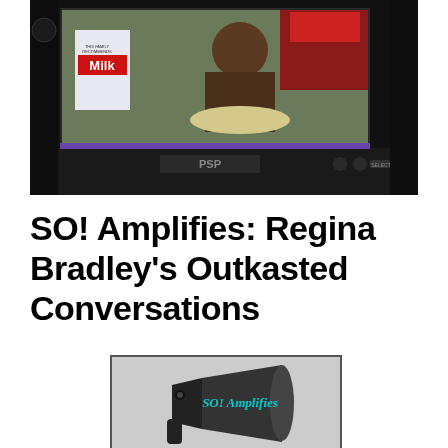[Figure (photo): Photo of a PSP device showing a TV screen with a man sitting at a kitchen table, a milk carton visible in the background]
SO! Amplifies: Regina Bradley's Outkasted Conversations
[Figure (photo): Photo of a megaphone/bullhorn with the text 'SO! Amplifies' written on it in stylized font, against a light background]